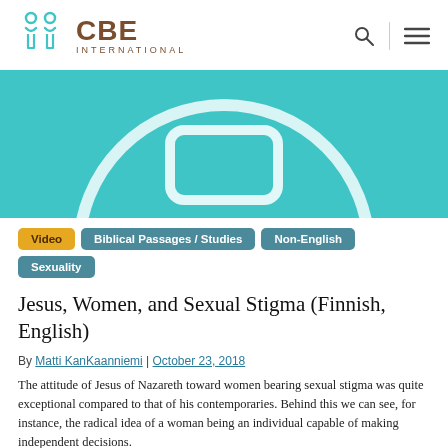CBE International
[Figure (illustration): Teal/turquoise hero image with white circular graphic outline suggesting a person or figure, styled abstract illustration]
Video
Biblical Passages / Studies
Non-English
Sexuality
Jesus, Women, and Sexual Stigma (Finnish, English)
By Matti KanKaanniemi | October 23, 2018
The attitude of Jesus of Nazareth toward women bearing sexual stigma was quite exceptional compared to that of his contemporaries. Behind this we can see, for instance, the radical idea of a woman being an individual capable of making independent decisions.